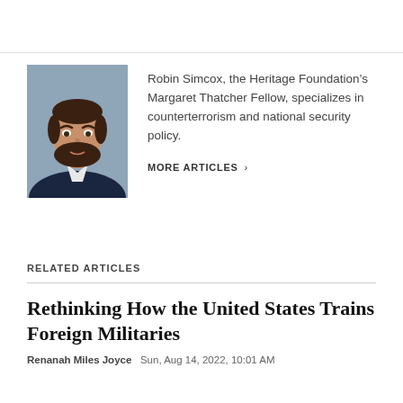[Figure (photo): Headshot photo of Robin Simcox, a man with dark beard and hair wearing a suit, against a gray-blue background]
Robin Simcox, the Heritage Foundation's Margaret Thatcher Fellow, specializes in counterterrorism and national security policy.
MORE ARTICLES >
RELATED ARTICLES
Rethinking How the United States Trains Foreign Militaries
Renanah Miles Joyce   Sun, Aug 14, 2022, 10:01 AM